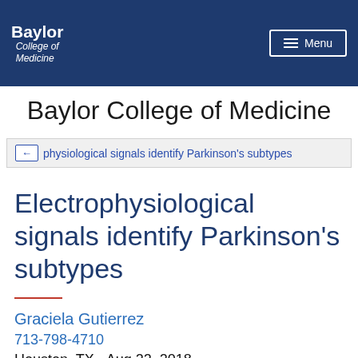Baylor College of Medicine | Menu
Baylor College of Medicine
Electrophysiological signals identify Parkinson's subtypes
Electrophysiological signals identify Parkinson's subtypes
Graciela Gutierrez
713-798-4710
Houston, TX - Aug 22, 2018